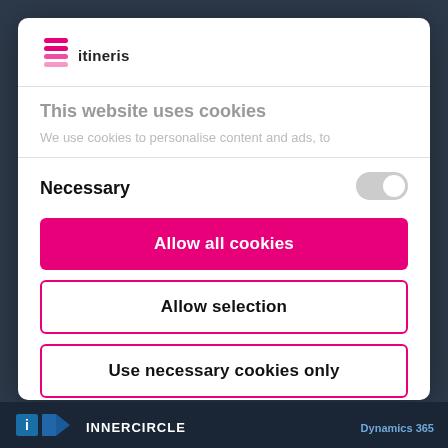[Figure (logo): Itineris logo with pink stacked lines icon and 'itineris' text below]
This website uses cookies
We use cookies to personalise content and ads, to
Necessary
[Figure (other): Toggle switch in off/grey state]
Allow all cookies
Allow selection
Use necessary cookies only
Powered by Cookiebot by Usercentrics
[Figure (logo): Bottom bar with INNERCIRCLE logo and Dynamics 365 text]